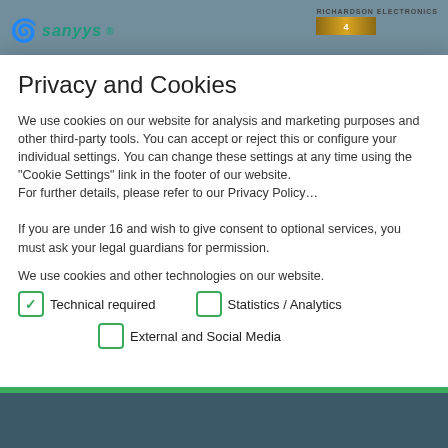Sanyys | Richardson Electronics
Privacy and Cookies
We use cookies on our website for analysis and marketing purposes and other third-party tools. You can accept or reject this or configure your individual settings. You can change these settings at any time using the "Cookie Settings" link in the footer of our website.
For further details, please refer to our Privacy Policy...
If you are under 16 and wish to give consent to optional services, you must ask your legal guardians for permission.
We use cookies and other technologies on our website.
Technical required
Statistics / Analytics
External and Social Media